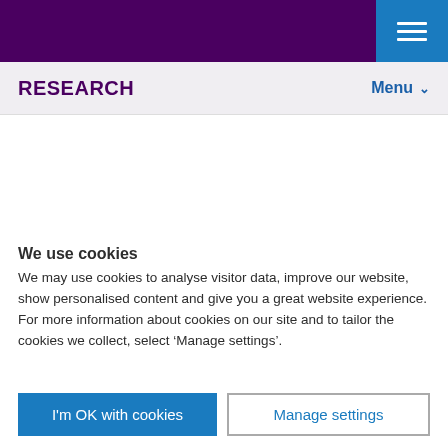RESEARCH | Menu
ACCOMMODATION
STUDYING WHILE WORKING
ONLINE COURSES
We use cookies
We may use cookies to analyse visitor data, improve our website, show personalised content and give you a great website experience. For more information about cookies on our site and to tailor the cookies we collect, select ‘Manage settings’.
I'm OK with cookies | Manage settings